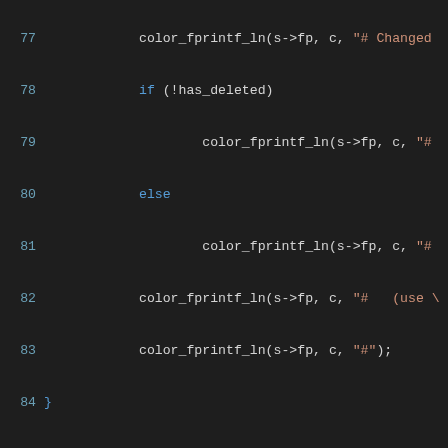[Figure (screenshot): Source code listing in a dark-theme code editor, showing C code lines 77-106 with syntax highlighting. Blue line numbers on left, keywords in blue, strings in red/orange, preprocessor/macro elements in teal/green.]